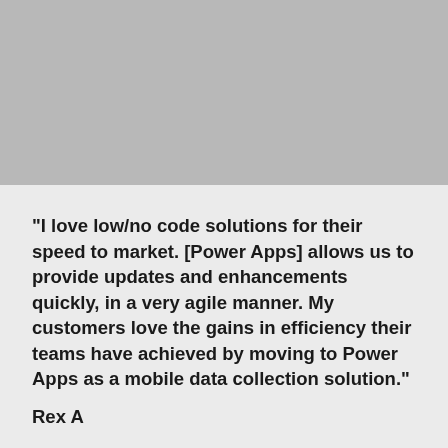[Figure (photo): Gray placeholder image area at the top of the page]
"I love low/no code solutions for their speed to market. [Power Apps] allows us to provide updates and enhancements quickly, in a very agile manner. My customers love the gains in efficiency their teams have achieved by moving to Power Apps as a mobile data collection solution."
Rex A